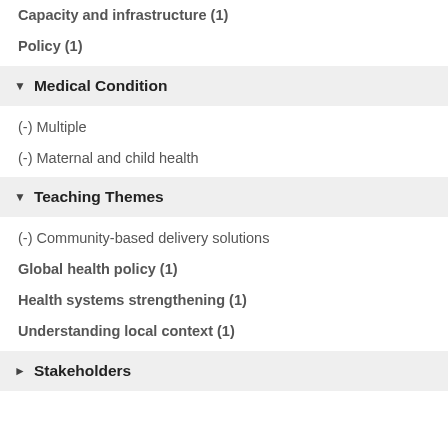Capacity and infrastructure (1)
Policy (1)
▼ Medical Condition
(-) Multiple
(-) Maternal and child health
▼ Teaching Themes
(-) Community-based delivery solutions
Global health policy (1)
Health systems strengthening (1)
Understanding local context (1)
► Stakeholders